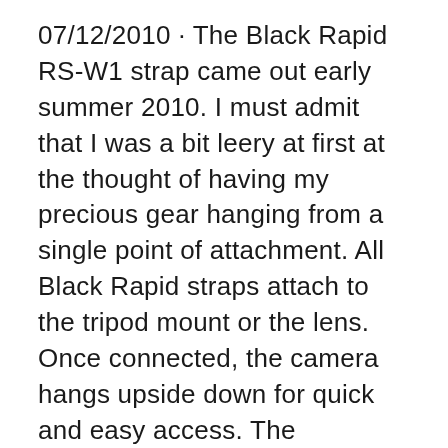07/12/2010 · The Black Rapid RS-W1 strap came out early summer 2010. I must admit that I was a bit leery at first at the thought of having my precious gear hanging from a single point of attachment. All Black Rapid straps attach to the tripod mount or the lens. Once connected, the camera hangs upside down for quick and easy access. The adjustable bumper Pour terminer, sachez aussi que sur la partie haute de la sangle peut se fixer une poche (non fournie avec), nommée Joey par BlackRapid. J'aurais cependant apprécié sur ce BlackRapid RS-Sport la présence d'une petite poche par défaut, ne serait-ce qu'une fente par ...